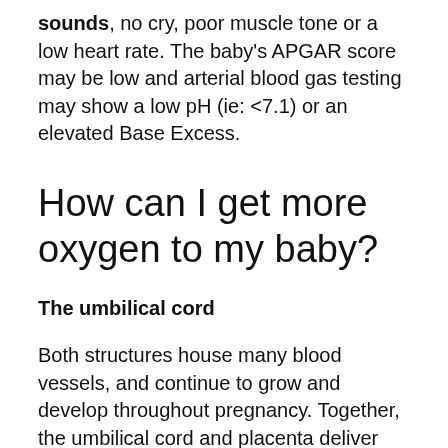sounds, no cry, poor muscle tone or a low heart rate. The baby's APGAR score may be low and arterial blood gas testing may show a low pH (ie: <7.1) or an elevated Base Excess.
How can I get more oxygen to my baby?
The umbilical cord
Both structures house many blood vessels, and continue to grow and develop throughout pregnancy. Together, the umbilical cord and placenta deliver nutrients from the mother to the baby. They also provide the baby with the oxygen-rich blood